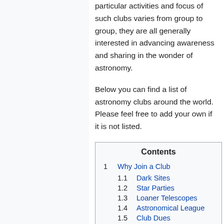particular activities and focus of such clubs varies from group to group, they are all generally interested in advancing awareness and sharing in the wonder of astronomy.
Below you can find a list of astronomy clubs around the world. Please feel free to add your own if it is not listed.
| Contents |
| --- |
| 1  Why Join a Club |
| 1.1  Dark Sites |
| 1.2  Star Parties |
| 1.3  Loaner Telescopes |
| 1.4  Astronomical League |
| 1.5  Club Dues |
| 2  Lists of Clubs |
| 2.1  United States |
| 2.2  United Kingdom |
| 2.3  Europe |